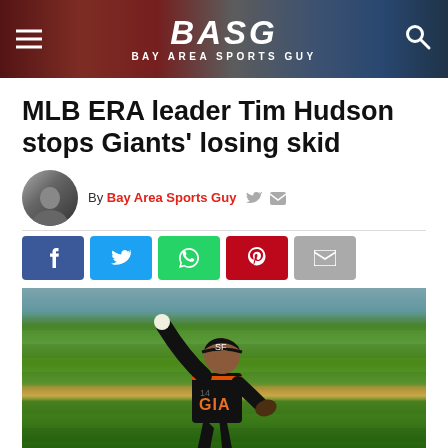BASG — BAY AREA SPORTS GUY
MLB ERA leader Tim Hudson stops Giants' losing skid
By Bay Area Sports Guy
[Figure (photo): San Francisco Giants pitcher in black and orange uniform mid-windup on baseball field, photo by Bay Area Sports Guy]